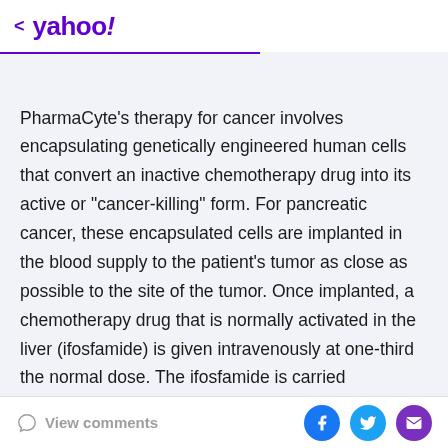< yahoo!
PharmaCyte's therapy for cancer involves encapsulating genetically engineered human cells that convert an inactive chemotherapy drug into its active or "cancer-killing" form. For pancreatic cancer, these encapsulated cells are implanted in the blood supply to the patient's tumor as close as possible to the site of the tumor. Once implanted, a chemotherapy drug that is normally activated in the liver (ifosfamide) is given intravenously at one-third the normal dose. The ifosfamide is carried
View comments